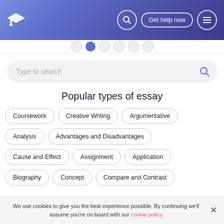Navigation header with logo, search icon, Get help now button, and menu icon
Type to search
Popular types of essay
Coursework
Creative Writing
Argumentative
Analysis
Advantages and Disadvantages
Cause and Effect
Assignment
Application
Biography
Concept
Compare and Contrast
We use cookies to give you the best experience possible. By continuing we'll assume you're on board with our cookie policy